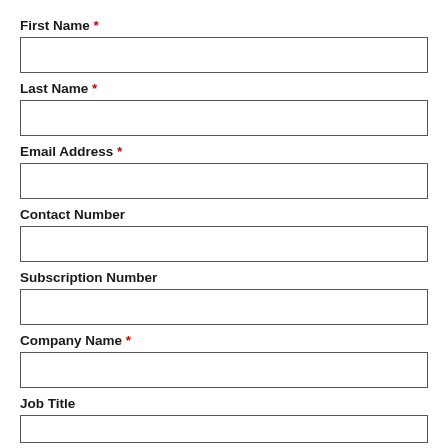First Name *
Last Name *
Email Address *
Contact Number
Subscription Number
Company Name *
Job Title